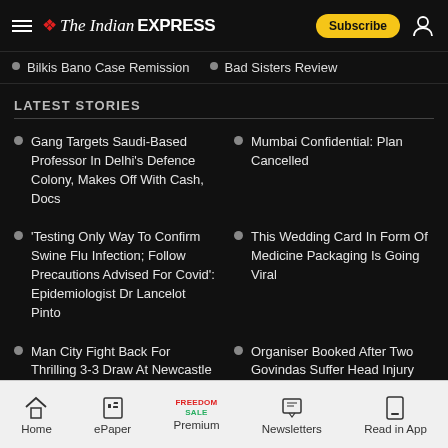The Indian EXPRESS — Subscribe
Bilkis Bano Case Remission
Bad Sisters Review
LATEST STORIES
Gang Targets Saudi-Based Professor In Delhi's Defence Colony, Makes Off With Cash, Docs
Mumbai Confidential: Plan Cancelled
'Testing Only Way To Confirm Swine Flu Infection; Follow Precautions Advised For Covid': Epidemiologist Dr Lancelot Pinto
This Wedding Card In Form Of Medicine Packaging Is Going Viral
Man City Fight Back For Thrilling 3-3 Draw At Newcastle
Organiser Booked After Two Govindas Suffer Head Injury During Dahi Handi
Home | ePaper | Premium | Newsletters | Read in App